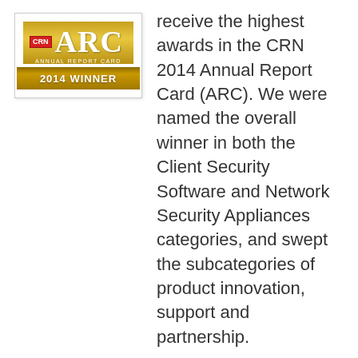[Figure (logo): CRN Annual Report Card 2014 Winner logo badge with gold and red design]
receive the highest awards in the CRN 2014 Annual Report Card (ARC). We were named the overall winner in both the Client Security Software and Network Security Appliances categories, and swept the subcategories of product innovation, support and partnership.
It's the first time in the history of the ARC that a company has swept both awards. For nearly three decades, this distinguished study has served as a benchmark for excellence throughout the IT channel, recognizing the technology vendors most highly praised by their solution provider partners.
Honorees were selected based on the results of an in-